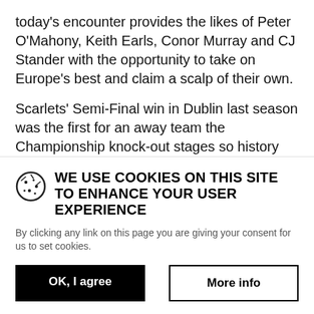today's encounter provides the likes of Peter O'Mahony, Keith Earls, Conor Murray and CJ Stander with the opportunity to take on Europe's best and claim a scalp of their own.
Scarlets' Semi-Final win in Dublin last season was the first for an away team the Championship knock-out stages so history will provide no barrier to the men in red. Energy supplies may also be on their side having had two weeks lead-in to prepare whilst Leinster were busy in Bilbao dealing with an
WE USE COOKIES ON THIS SITE TO ENHANCE YOUR USER EXPERIENCE
By clicking any link on this page you are giving your consent for us to set cookies.
OK, I agree
More info